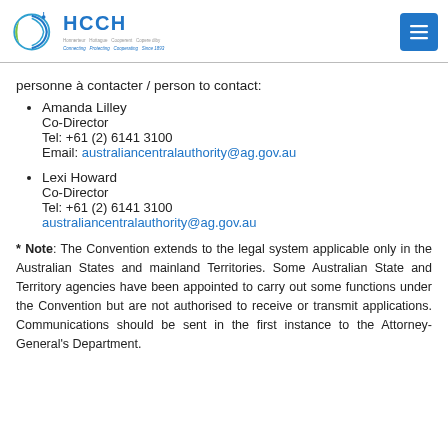[Figure (logo): HCCH logo with globe icon and tagline: Connecting, Protecting, Cooperating. Since 1893.]
personne à contacter / person to contact:
Amanda Lilley
Co-Director
Tel: +61 (2) 6141 3100
Email: australiancentralauthority@ag.gov.au
Lexi Howard
Co-Director
Tel: +61 (2) 6141 3100
australiancentralauthority@ag.gov.au
* Note: The Convention extends to the legal system applicable only in the Australian States and mainland Territories. Some Australian State and Territory agencies have been appointed to carry out some functions under the Convention but are not authorised to receive or transmit applications. Communications should be sent in the first instance to the Attorney-General's Department.